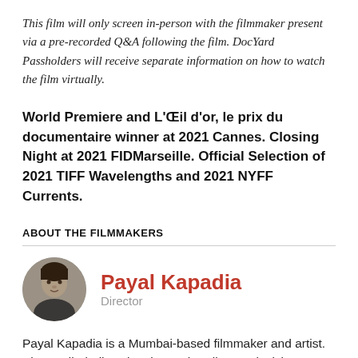This film will only screen in-person with the filmmaker present via a pre-recorded Q&A following the film. DocYard Passholders will receive separate information on how to watch the film virtually.
World Premiere and L'Œil d'or, le prix du documentaire winner at 2021 Cannes. Closing Night at 2021 FIDMarseille. Official Selection of 2021 TIFF Wavelengths and 2021 NYFF Currents.
ABOUT THE FILMMAKERS
[Figure (photo): Black and white circular portrait photo of Payal Kapadia]
Payal Kapadia
Director
Payal Kapadia is a Mumbai-based filmmaker and artist. She studied Film Direction at the Film & Television Institute of India